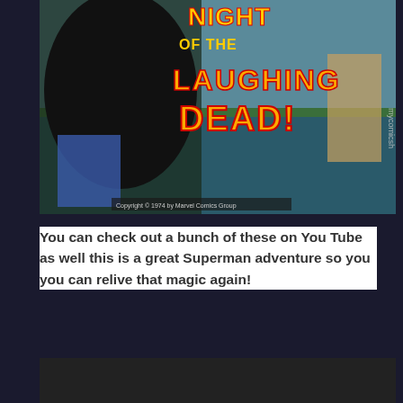[Figure (illustration): Comic book cover showing 'Night of the Laughing Dead!' with dark horror imagery, a creature with dark fur/hair, and text including copyright notice 'Copyright 1974 by Marvel Comics Group' and 'mycomicsh' watermark visible on right edge]
You can check out a bunch of these on You Tube as well this is a great Superman adventure so you you can relive that magic again!
[Figure (screenshot): Dark/black video player embed area]